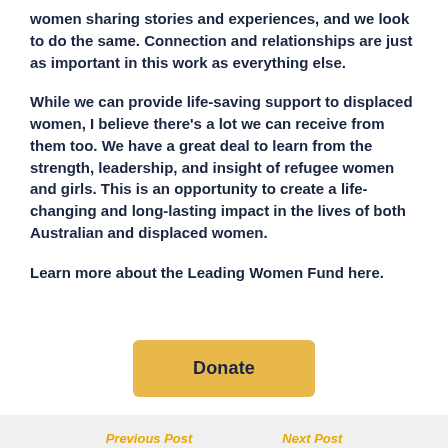women sharing stories and experiences, and we look to do the same. Connection and relationships are just as important in this work as everything else.
While we can provide life-saving support to displaced women, I believe there's a lot we can receive from them too. We have a great deal to learn from the strength, leadership, and insight of refugee women and girls. This is an opportunity to create a life-changing and long-lasting impact in the lives of both Australian and displaced women.
Learn more about the Leading Women Fund here.
[Figure (other): Golden/yellow Donate button centered on the page]
Previous Post   Next Post